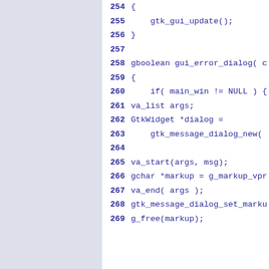Code listing lines 254-269 showing C source code with GTK functions including gtk_gui_update, gui_error_dialog, main_win, va_list, GtkWidget, gtk_message_dialog_new, va_start, g_markup_vprintf, va_end, gtk_message_dialog_set_markup, g_free